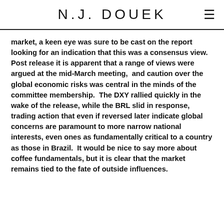N.J. DOUEK
market, a keen eye was sure to be cast on the report looking for an indication that this was a consensus view.  Post release it is apparent that a range of views were argued at the mid-March meeting,  and caution over the global economic risks was central in the minds of the committee membership.  The DXY rallied quickly in the wake of the release, while the BRL slid in response, trading action that even if reversed later indicate global concerns are paramount to more narrow national interests, even ones as fundamentally critical to a country as those in Brazil.  It would be nice to say more about coffee fundamentals, but it is clear that the market remains tied to the fate of outside influences.